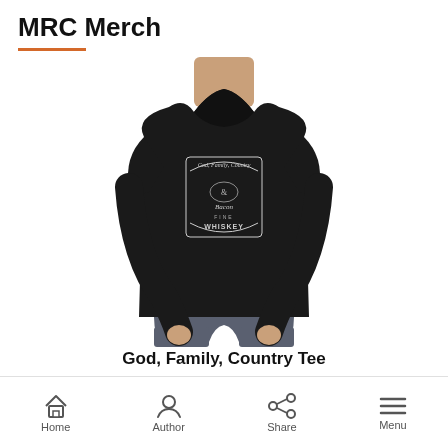MRC Merch
[Figure (photo): A man wearing a black t-shirt with a graphic that reads 'God, Family, Country & Bacon FINE WHISKEY' in a vintage label style]
God, Family, Country Tee
Home  Author  Share  Menu